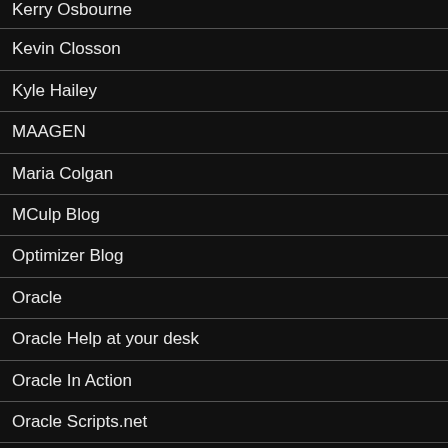Kerry Osbourne
Kevin Closson
Kyle Hailey
MAAGEN
Maria Colgan
MCulp Blog
Optimizer Blog
Oracle
Oracle Help at your desk
Oracle In Action
Oracle Scripts.net
Oracle-Base.com
Oracle12c